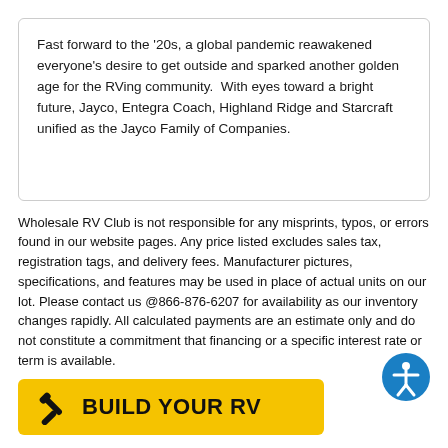Fast forward to the '20s, a global pandemic reawakened everyone's desire to get outside and sparked another golden age for the RVing community.  With eyes toward a bright future, Jayco, Entegra Coach, Highland Ridge and Starcraft unified as the Jayco Family of Companies.
Wholesale RV Club is not responsible for any misprints, typos, or errors found in our website pages. Any price listed excludes sales tax, registration tags, and delivery fees. Manufacturer pictures, specifications, and features may be used in place of actual units on our lot. Please contact us @866-876-6207 for availability as our inventory changes rapidly. All calculated payments are an estimate only and do not constitute a commitment that financing or a specific interest rate or term is available.
[Figure (other): Yellow BUILD YOUR RV button with wrench icon]